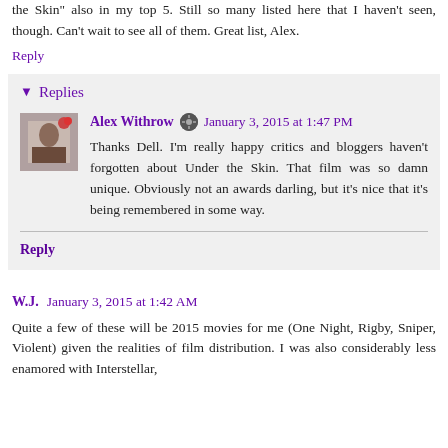the Skin" also in my top 5. Still so many listed here that I haven't seen, though. Can't wait to see all of them. Great list, Alex.
Reply
Replies
Alex Withrow  January 3, 2015 at 1:47 PM
Thanks Dell. I'm really happy critics and bloggers haven't forgotten about Under the Skin. That film was so damn unique. Obviously not an awards darling, but it's nice that it's being remembered in some way.
Reply
W.J.  January 3, 2015 at 1:42 AM
Quite a few of these will be 2015 movies for me (One Night, Rigby, Sniper, Violent) given the realities of film distribution. I was also considerably less enamored with Interstellar,